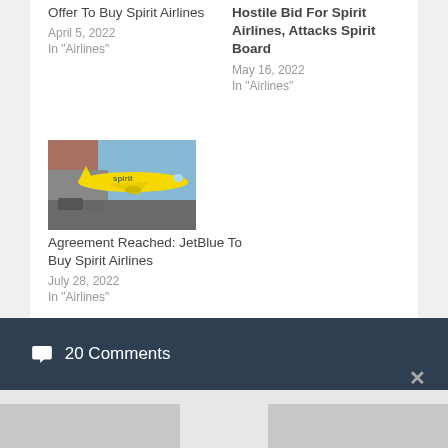Offer To Buy Spirit Airlines
April 5, 2022
In "Airlines"
Hostile Bid For Spirit Airlines, Attacks Spirit Board
May 16, 2022
In "Airlines"
[Figure (photo): Yellow Spirit Airlines plane at airport gate]
Agreement Reached: JetBlue To Buy Spirit Airlines
July 28, 2022
In "Airlines"
💬 20 Comments